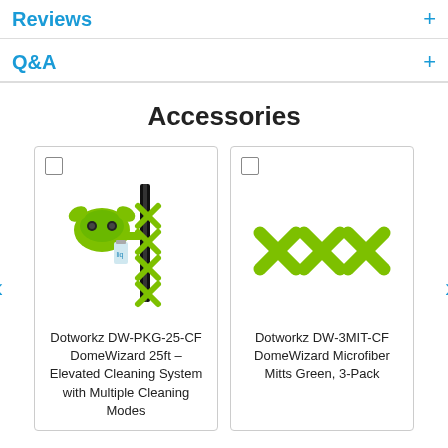Reviews +
Q&A +
Accessories
[Figure (photo): Dotworkz DW-PKG-25-CF DomeWizard 25ft product image showing cleaning tool with green attachments and extension pole]
Dotworkz DW-PKG-25-CF DomeWizard 25ft – Elevated Cleaning System with Multiple Cleaning Modes
[Figure (photo): Dotworkz DW-3MIT-CF DomeWizard Microfiber Mitts Green 3-Pack product image showing three green X-shaped mitts]
Dotworkz DW-3MIT-CF DomeWizard Microfiber Mitts Green, 3-Pack